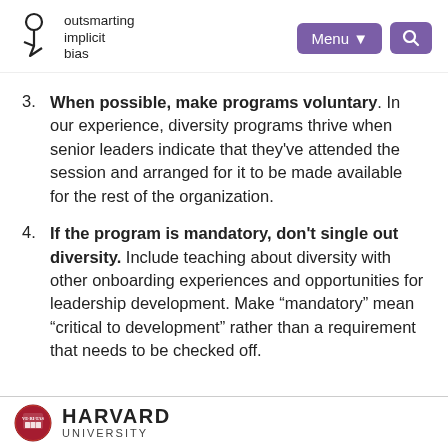outsmarting implicit bias | Menu | Search
3. When possible, make programs voluntary. In our experience, diversity programs thrive when senior leaders indicate that they’ve attended the session and arranged for it to be made available for the rest of the organization.
4. If the program is mandatory, don’t single out diversity. Include teaching about diversity with other onboarding experiences and opportunities for leadership development. Make “mandatory” mean “critical to development” rather than a requirement that needs to be checked off.
HARVARD UNIVERSITY